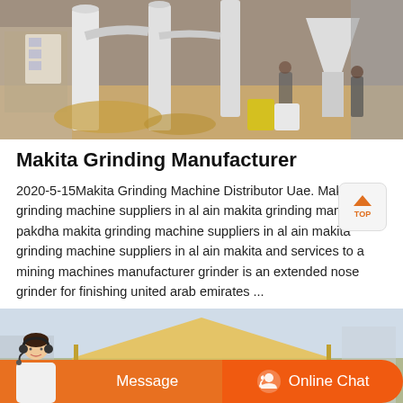[Figure (photo): Industrial grinding/milling machine setup in a factory or outdoor facility with white cylindrical structures, pipes, hoppers, and workers visible in the background.]
Makita Grinding Manufacturer
2020-5-15Makita Grinding Machine Distributor Uae. Makita grinding machine suppliers in al ain makita grinding manufactu pakdha makita grinding machine suppliers in al ain makita grinding machine suppliers in al ain makita and services to a mining machines manufacturer grinder is an extended nose grinder for finishing united arab emirates ...
[Figure (photo): Bottom portion of page showing an industrial facility or large tent structure, with an orange chat bar at the bottom featuring a customer service agent image, a Message button, and an Online Chat button with headset icon.]